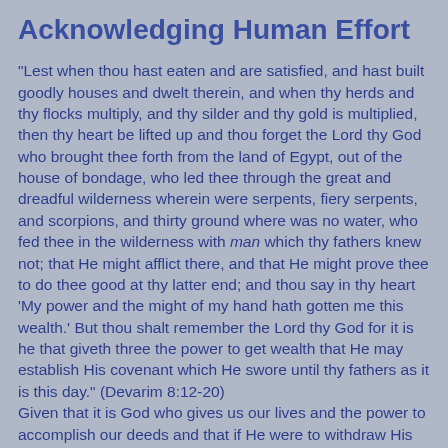Acknowledging Human Effort
"Lest when thou hast eaten and are satisfied, and hast built goodly houses and dwelt therein, and when thy herds and thy flocks multiply, and thy silder and thy gold is multiplied, then thy heart be lifted up and thou forget the Lord thy God who brought thee forth from the land of Egypt, out of the house of bondage, who led thee through the great and dreadful wilderness wherein were serpents, fiery serpents, and scorpions, and thirty ground where was no water, who fed thee in the wilderness with man which thy fathers knew not; that He might afflict there, and that He might prove thee to do thee good at thy latter end; and thou say in thy heart 'My power and the might of my hand hath gotten me this wealth.' But thou shalt remember the Lord thy God for it is he that giveth three the power to get wealth that He may establish His covenant which He swore until thy fathers as it is this day." (Devarim 8:12-20)
Given that it is God who gives us our lives and the power to accomplish our deeds and that if He were to withdraw His support from us for an intant, we would cease to exist, one can draw a very simplistic conclusion. Since anything I do I